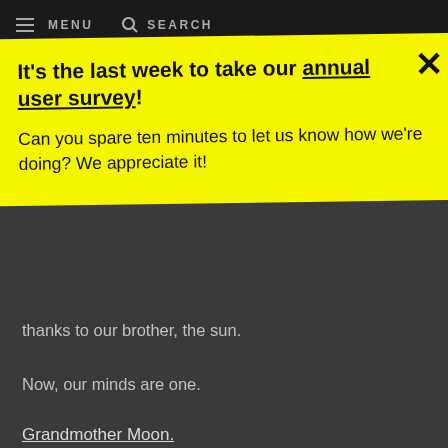MENU   SEARCH
It's the last week to take our annual user survey!
Can you spare ten minutes to let us know how we're doing? We appreciate it!
thanks to our brother, the sun.
Now, our minds are one.
Grandmother Moon.
We put our minds together to give thanks to our oldest grandmother, the moon, who lights the nighttime sky. She is the leader of woman all over the world and she governs the